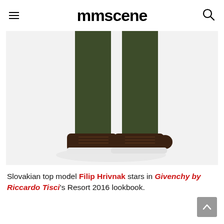mmscene
[Figure (photo): Close-up of a male model's legs wearing dark olive/army green slim trousers and dark brown leather sneakers with white soles, against a white studio background.]
Slovakian top model Filip Hrivnak stars in Givenchy by Riccardo Tisci's Resort 2016 lookbook.